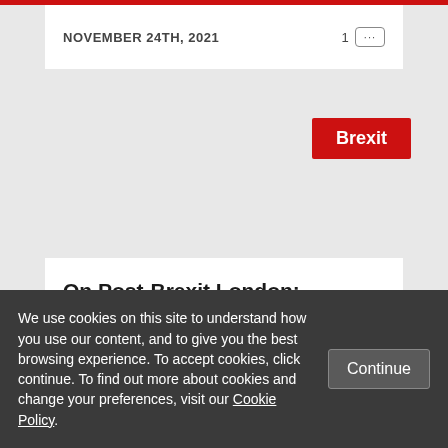NOVEMBER 24TH, 2021
Brexit
On Post-Brexit London: difference doesn't have to break us
We use cookies on this site to understand how you use our content, and to give you the best browsing experience. To accept cookies, click continue. To find out more about cookies and change your preferences, visit our Cookie Policy.